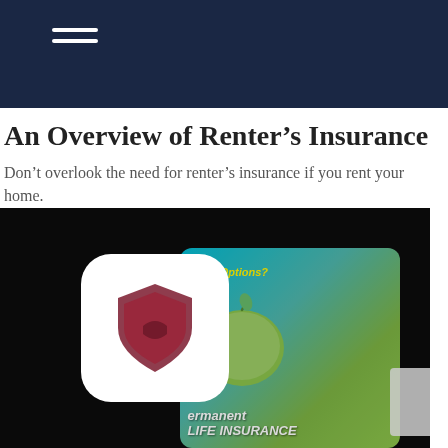Navigation bar with hamburger menu
An Overview of Renter’s Insurance
Don’t overlook the need for renter’s insurance if you rent your home.
[Figure (photo): Dark photo of a person holding a tablet displaying insurance-related content with a green apple graphic and text about insurance options. A white rounded-square icon with a shield emblem is overlaid in the center of the image.]